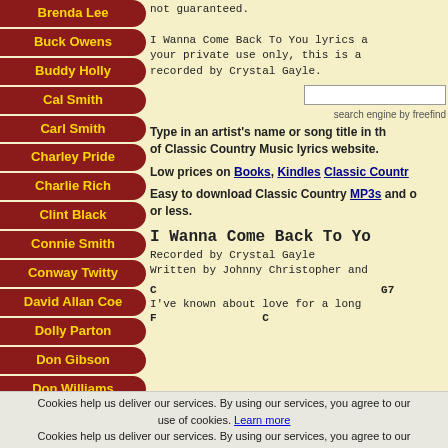Brenda Lee
Buck Owens
Buddy Holly
Cal Smith
Carl Smith
Charley Pride
Charlie Rich
Clint Black
Connie Smith
Conway Twitty
David Allan Coe
Dolly Parton
Don Gibson
Don Williams
Dwight Yoakam
not guaranteed.

I Wanna Come Back To You lyrics are for your private use only, this is a song recorded by Crystal Gayle.
Type in an artist's name or song title in the search of Classic Country Music lyrics website.
Low prices on Books, Kindles Classic Country
Easy to download Classic Country MP3s and or less.
I Wanna Come Back To Yo
Recorded by Crystal Gayle
Written by Johnny Christopher and
C                                    G7
I've known about love for a long
F               C
Cookies help us deliver our services. By using our services, you agree to our use of cookies. Learn more
Cookies help us deliver our services. By using our services, you agree to our